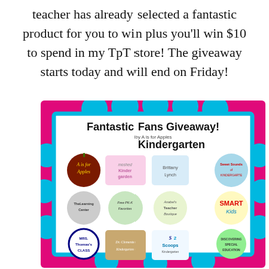teacher has already selected a fantastic product for you to win plus you'll win $10 to spend in my TpT store! The giveaway starts today and will end on Friday!
[Figure (infographic): Fantastic Fans Giveaway promotional image by A is for Apples Kindergarten. Magenta/pink background with cyan border starburst shape. Contains logos for multiple teacher stores: A is for Apples, Moshed Kinder Garden, Brittany Lynch, Sweet Sounds of Kindergarten, The Learning Center, Free PK Favorites, Anabel's Teacher Boutique, SMART Kids, Mrs. Thomas's Class, Dr. Clements Kindergarten, 2 Scoops of Kindergarten, and a special education logo.]